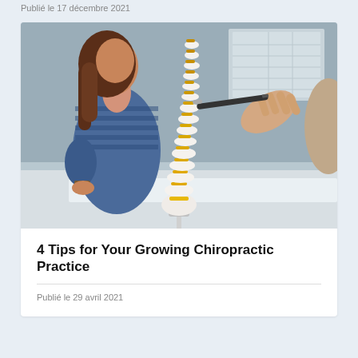Publié le 17 décembre 2021
[Figure (photo): A chiropractic practitioner holds a model of a human spine with yellow intervertebral discs, demonstrating it to a patient (woman with long brown hair) seated nearby. Clinical office setting with grey walls in background.]
4 Tips for Your Growing Chiropractic Practice
Publié le 29 avril 2021